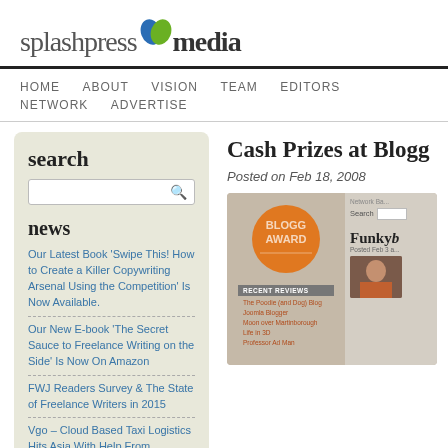[Figure (logo): splashpressmedia logo with blue and green leaf icon]
HOME   ABOUT   VISION   TEAM   EDITORS   NETWORK   ADVERTISE
search
search box
news
Our Latest Book 'Swipe This! How to Create a Killer Copywriting Arsenal Using the Competition' Is Now Available.
Our New E-book 'The Secret Sauce to Freelance Writing on the Side' Is Now On Amazon
FWJ Readers Survey & The State of Freelance Writers in 2015
Vgo – Cloud Based Taxi Logistics Hits Asia With Help From Splashpress Media
Cash Prizes at Blogg
Posted on Feb 18, 2008
[Figure (screenshot): Screenshot of Bloggard website showing orange badge logo, Recent Reviews section with links (The Poodle and Dogi Blog, Joomla Blogger, Moon over Martinborough, Life in 3D, Professor Ad Man), and a sidebar with Network label, Search box, FunkyB posted Feb 3 and a photo of a person]